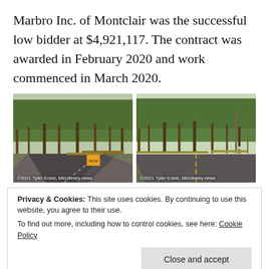Marbro Inc. of Montclair was the successful low bidder at $4,921,117. The contract was awarded in February 2020 and work commenced in March 2020.
[Figure (photo): Two side-by-side road construction photos showing a curved road with guardrails and trees, credited to 2021 Tyler Eckel, MidJersey.news]
Privacy & Cookies: This site uses cookies. By continuing to use this website, you agree to their use.
To find out more, including how to control cookies, see here: Cookie Policy
Close and accept
Twitter  Facebook